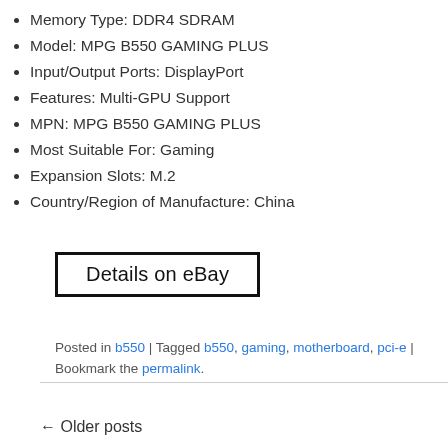Memory Type: DDR4 SDRAM
Model: MPG B550 GAMING PLUS
Input/Output Ports: DisplayPort
Features: Multi-GPU Support
MPN: MPG B550 GAMING PLUS
Most Suitable For: Gaming
Expansion Slots: M.2
Country/Region of Manufacture: China
[Figure (other): Button labeled 'Details on eBay' with a black border rectangle]
Posted in b550 | Tagged b550, gaming, motherboard, pci-e | Bookmark the permalink.
← Older posts